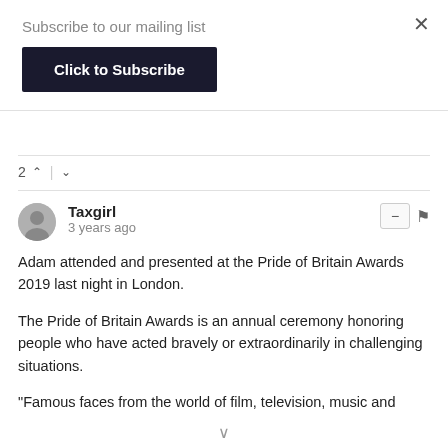Subscribe to our mailing list
Click to Subscribe
2 ∧ | ∨
Taxgirl
3 years ago
Adam attended and presented at the Pride of Britain Awards 2019 last night in London.
The Pride of Britain Awards is an annual ceremony honoring people who have acted bravely or extraordinarily in challenging situations.
"Famous faces from the world of film, television, music and